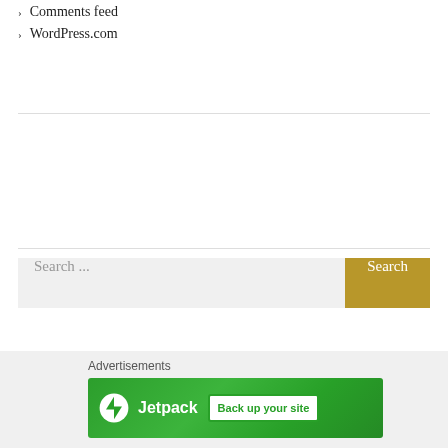> Comments feed
> WordPress.com
[Figure (screenshot): Search bar with text input field showing 'Search ...' placeholder and a gold/tan 'Search' button on the right]
[Figure (infographic): Jetpack advertisement banner with green background, Jetpack logo, and 'Back up your site' button]
Advertisements